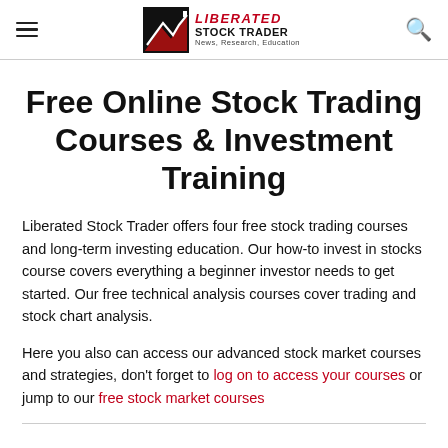Liberated Stock Trader — News, Research, Education
Free Online Stock Trading Courses & Investment Training
Liberated Stock Trader offers four free stock trading courses and long-term investing education. Our how-to invest in stocks course covers everything a beginner investor needs to get started. Our free technical analysis courses cover trading and stock chart analysis.
Here you also can access our advanced stock market courses and strategies, don't forget to log on to access your courses or jump to our free stock market courses